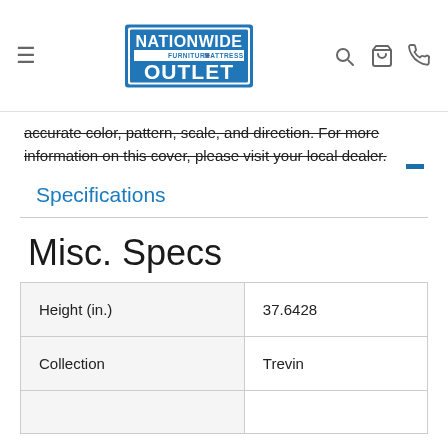Nationwide Furniture & Mattress Outlet — navigation bar with logo, search, cart, phone icons
accurate color, pattern, scale, and direction. For more information on this cover, please visit your local dealer.
Specifications
Misc. Specs
|  |  |
| --- | --- |
| Height (in.) | 37.6428 |
| Collection | Trevin |
|  |  |